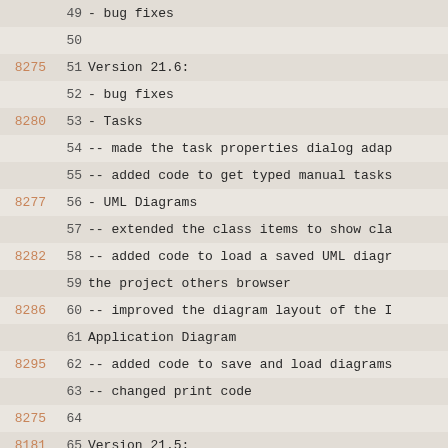Code view showing revision history lines 49-78 with revision numbers and code content
49  - bug fixes
50
8275  51 Version 21.6:
52 - bug fixes
8280  53 - Tasks
54    -- made the task properties dialog adap
55    -- added code to get typed manual tasks
8277  56 - UML Diagrams
57    -- extended the class items to show cla
8282  58    -- added code to load a saved UML diagr
59       the project others browser
8286  60    -- improved the diagram layout of the I
61       Application Diagram
8295  62    -- added code to save and load diagrams
63    -- changed print code
8275  64
8181  65 Version 21.5:
66 - bug fixes
8197  67 - Code Style Checker
68    -- added a checker to find code that co
8199  69    -- added capability to the results page
70       message code
8215  71    -- improved the statistics handling
8208  72    -- updated pycodestyle to version 2.7.0
8181  73 - MicroPython
74    -- added option to select the baud rate
8200  75    -- updated the BBC micro:bit API file t
8255  76 - Python Lexer
77    -- updated the substyle contents
8208  78 - Syntax Checker